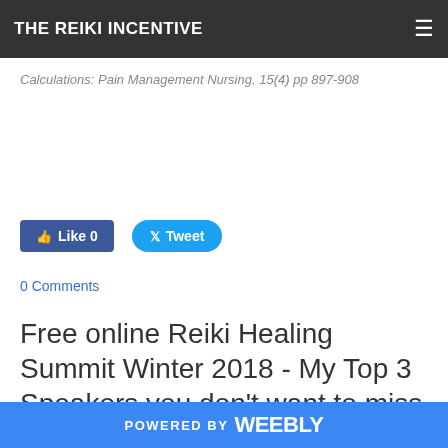THE REIKI INCENTIVE
Calculations: Pain Management Nursing, 15(4) pp 897-908
[Figure (screenshot): Facebook Like button showing 'Like 0' and Twitter Tweet button]
0 Comments
Free online Reiki Healing Summit Winter 2018 - My Top 3 Speakers you don't want to miss
POWERED BY weebly